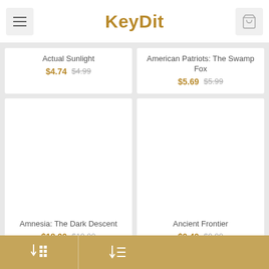KeyDit
Actual Sunlight $4.74 $4.99
American Patriots: The Swamp Fox $5.69 $5.99
[Figure (screenshot): Blank white product image area for Amnesia: The Dark Descent]
Amnesia: The Dark Descent $18.99 $19.00
[Figure (screenshot): Blank white product image area for Ancient Frontier]
Ancient Frontier $9.49 $9.99
Grid view and list view toggle buttons